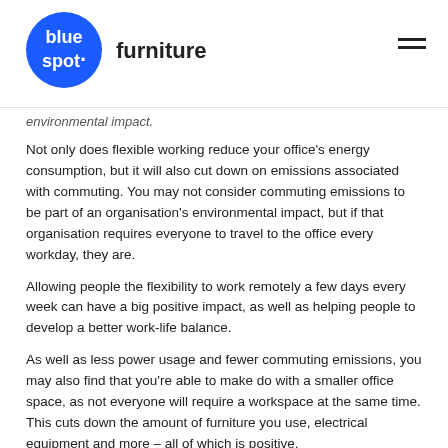blue spot furniture
environmental impact.
Not only does flexible working reduce your office's energy consumption, but it will also cut down on emissions associated with commuting. You may not consider commuting emissions to be part of an organisation's environmental impact, but if that organisation requires everyone to travel to the office every workday, they are.
Allowing people the flexibility to work remotely a few days every week can have a big positive impact, as well as helping people to develop a better work-life balance.
As well as less power usage and fewer commuting emissions, you may also find that you're able to make do with a smaller office space, as not everyone will require a workspace at the same time. This cuts down the amount of furniture you use, electrical equipment and more – all of which is positive.
Telecommunications company O2 recently announced its new Green Savings Calculator that will allow organisations to see just how much money they